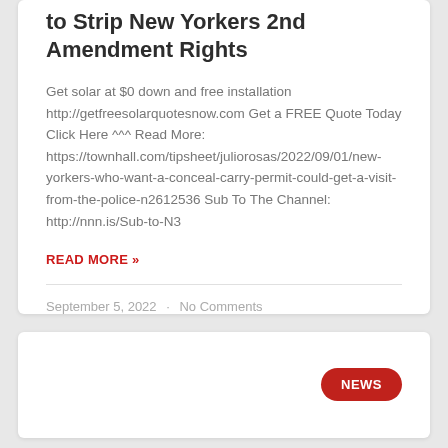to Strip New Yorkers 2nd Amendment Rights
Get solar at $0 down and free installation http://getfreesolarquotesnow.com Get a FREE Quote Today Click Here ^^^ Read More: https://townhall.com/tipsheet/juliorosas/2022/09/01/new-yorkers-who-want-a-conceal-carry-permit-could-get-a-visit-from-the-police-n2612536 Sub To The Channel: http://nnn.is/Sub-to-N3
READ MORE »
September 5, 2022  ·  No Comments
[Figure (other): White card with a red NEWS badge/button in the top-right corner]